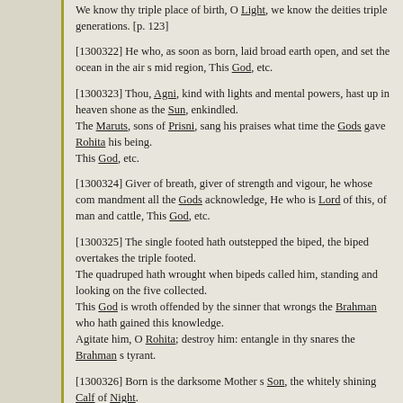We know thy triple place of birth, O Light, we know the deities triple generations. [p. 123]
[1300322] He who, as soon as born, laid broad earth open, and set the ocean in the air s mid region, This God, etc.
[1300323] Thou, Agni, kind with lights and mental powers, hast up in heaven shone as the Sun, enkindled.
The Maruts, sons of Prisni, sang his praises what time the Gods gave Rohita his being.
This God, etc.
[1300324] Giver of breath, giver of strength and vigour, he whose com mandment all the Gods acknowledge, He who is Lord of this, of man and cattle, This God, etc.
[1300325] The single footed hath outstepped the biped, the biped overtakes the triple footed.
The quadruped hath wrought when bipeds called him, standing and looking on the five collected.
This God is wroth offended by the sinner that wrongs the Brahman who hath gained this knowledge.
Agitate him, O Rohita; destroy him: entangle in thy snares the Brahman s tyrant.
[1300326] Born is the darksome Mother s Son, the whitely shining Calf of Night.
He, Rohita, ascendeth up to heaven, hath mounted to the height.